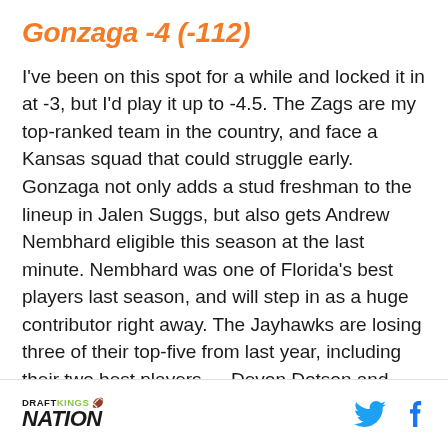Gonzaga -4 (-112)
I've been on this spot for a while and locked it in at -3, but I'd play it up to -4.5. The Zags are my top-ranked team in the country, and face a Kansas squad that could struggle early. Gonzaga not only adds a stud freshman to the lineup in Jalen Suggs, but also gets Andrew Nembhard eligible this season at the last minute. Nembhard was one of Florida's best players last season, and will step in as a huge contributor right away. The Jayhawks are losing three of their top-five from last year, including their two best players — Devon Dotson and Udoka Azubuike. I'm looking for the Zags to show the nation why they're
DRAFTKINGS NATION